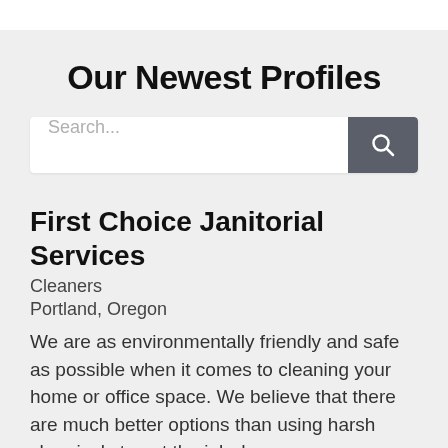Our Newest Profiles
Search...
First Choice Janitorial Services
Cleaners
Portland, Oregon
We are as environmentally friendly and safe as possible when it comes to cleaning your home or office space. We believe that there are much better options than using harsh chemicals to get the job done.